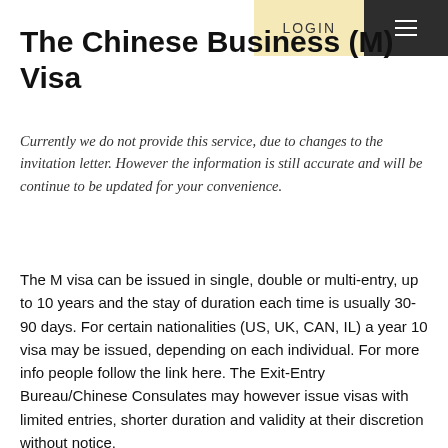LOGIN
The Chinese Business (M) Visa
Currently we do not provide this service, due to changes to the invitation letter. However the information is still accurate and will be continue to be updated for your convenience.
The M visa can be issued in single, double or multi-entry, up to 10 years and the stay of duration each time is usually 30-90 days. For certain nationalities (US, UK, CAN, IL) a year 10 visa may be issued, depending on each individual. For more info people follow the link here. The Exit-Entry Bureau/Chinese Consulates may however issue visas with limited entries, shorter duration and validity at their discretion without notice.